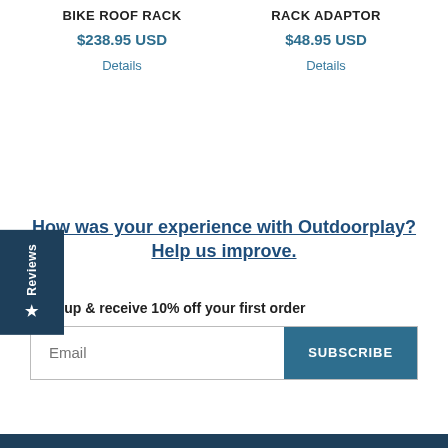BIKE ROOF RACK
$238.95 USD
Details
RACK ADAPTOR
$48.95 USD
Details
★ Reviews
How was your experience with Outdoorplay? Help us improve.
Sign up & receive 10% off your first order
Email
SUBSCRIBE